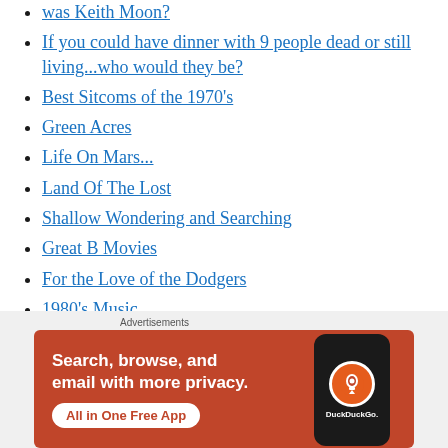was Keith Moon?
If you could have dinner with 9 people dead or still living...who would they be?
Best Sitcoms of the 1970's
Green Acres
Life On Mars...
Land Of The Lost
Shallow Wondering and Searching
Great B Movies
For the Love of the Dodgers
1980's Music
Advertisements
[Figure (infographic): DuckDuckGo advertisement banner: orange/red background with phone mockup. Text reads 'Search, browse, and email with more privacy. All in One Free App'. DuckDuckGo logo shown on phone screen.]